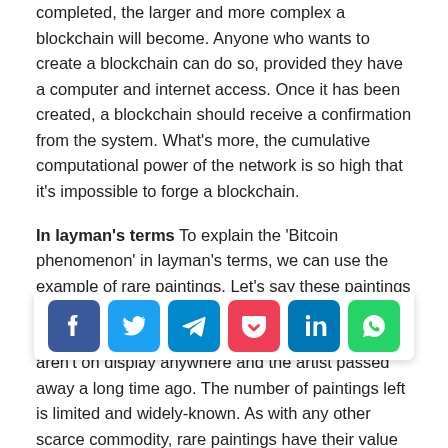completed, the larger and more complex a blockchain will become. Anyone who wants to create a blockchain can do so, provided they have a computer and internet access. Once it has been created, a blockchain should receive a confirmation from the system. What's more, the cumulative computational power of the network is so high that it's impossible to forge a blockchain.
In layman's terms To explain the 'Bitcoin phenomenon' in layman's terms, we can use the example of rare paintings. Let's say these paintings can't be forged and you can't go to exhibitions and buy this particular artist's works. These paintings aren't on display anywhere and the artist passed away a long time ago. The number of paintings left is limited and widely-known. As with any other scarce commodity, rare paintings have their value which rises in tandem with demand. Whilst it was easy for people to get their hands on the first paintings, this becomes more and more difficult over time. In order to find a painting that's for sale, people need to come together and expend a great deal of t[...]ies' for necessities and some even go so far as to open a gallery where they collect paintings in the hope that their value will continue to shoot
[Figure (other): Social sharing bar with icons for Facebook, Twitter, Telegram, Pocket, LinkedIn, and WhatsApp]